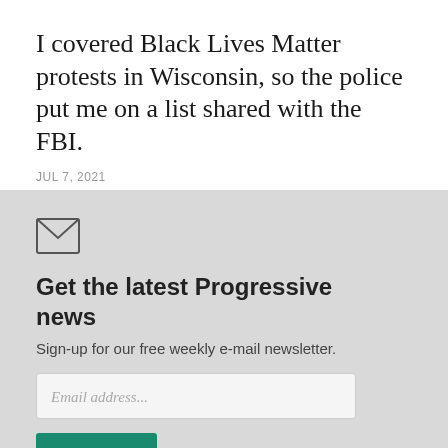I covered Black Lives Matter protests in Wisconsin, so the police put me on a list shared with the FBI.
JUL 7, 2021
[Figure (illustration): Envelope icon (letter/mail symbol)]
Get the latest Progressive news
Sign-up for our free weekly e-mail newsletter.
Email address...
SIGN UP